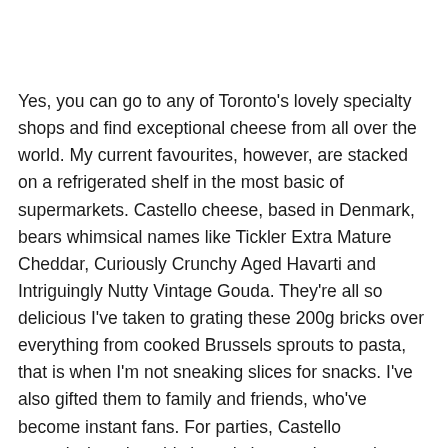Yes, you can go to any of Toronto's lovely specialty shops and find exceptional cheese from all over the world. My current favourites, however, are stacked on a refrigerated shelf in the most basic of supermarkets. Castello cheese, based in Denmark, bears whimsical names like Tickler Extra Mature Cheddar, Curiously Crunchy Aged Havarti and Intriguingly Nutty Vintage Gouda. They're all so delicious I've taken to grating these 200g bricks over everything from cooked Brussels sprouts to pasta, that is when I'm not sneaking slices for snacks. I've also gifted them to family and friends, who've become instant fans. For parties, Castello commissioned sophisticated cheese plates using a few of their many products. Find ideas and